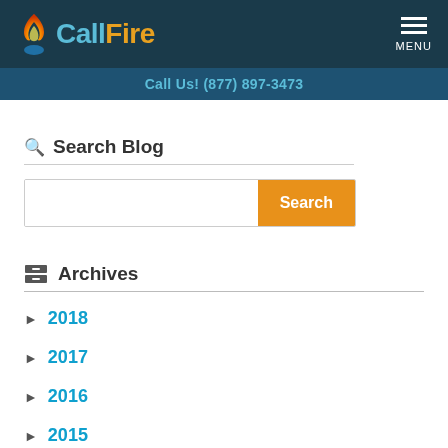CallFire — Call Us! (877) 897-3473
Search Blog
Archives
► 2018
► 2017
► 2016
► 2015
December